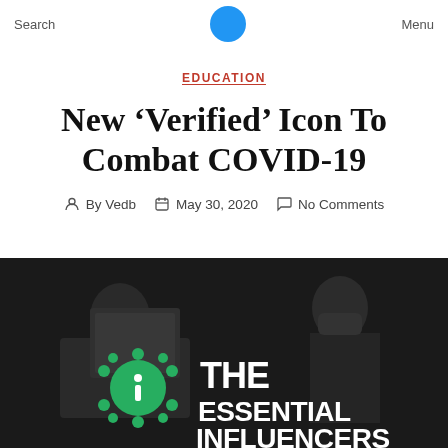Search   Menu
EDUCATION
New ‘Verified’ Icon To Combat COVID-19
By Vedb   May 30, 2020   No Comments
[Figure (photo): Black and white photo of healthcare workers with coronavirus graphic overlay reading THE ESSENTIAL INFLUENCERS with a green coronavirus icon]